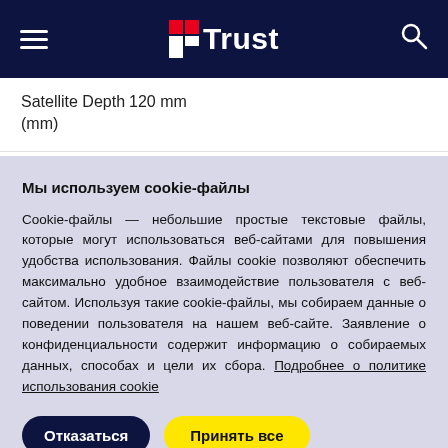Trust (logo navigation bar)
| Satellite Depth (mm) | 120 mm |
Мы используем cookie-файлы
Cookie-файлы — небольшие простые текстовые файлы, которые могут использоваться веб-сайтами для повышения удобства использования. Файлы cookie позволяют обеспечить максимально удобное взаимодействие пользователя с веб-сайтом. Используя такие cookie-файлы, мы собираем данные о поведении пользователя на нашем веб-сайте. Заявление о конфиденциальности содержит информацию о собираемых данных, способах и цели их сбора. Подробнее о политике использования cookie
Отказаться | Принять все
Настройки файлов cookie